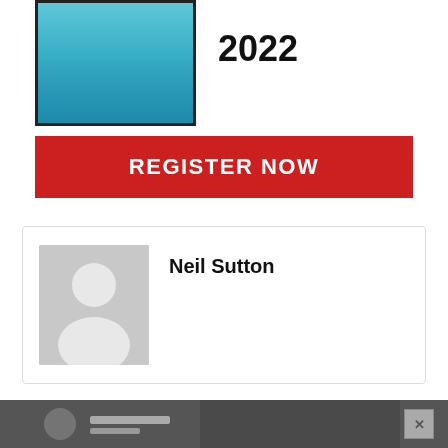[Figure (illustration): Book or publication cover image with teal/blue gradient background, framed with black border]
2022
REGISTER NOW
[Figure (illustration): Default user avatar placeholder — grey background with white silhouette of a person (head and shoulders)]
Neil Sutton
[Figure (illustration): Advertisement banner at the bottom of the page with a grey background and an X close button]